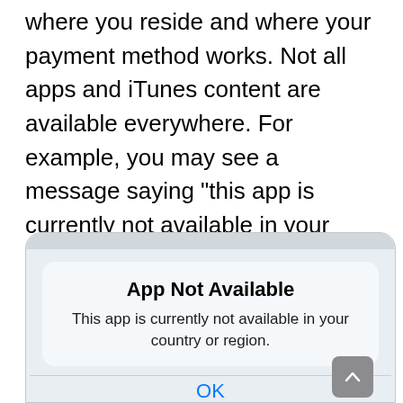Your Apple ID is tied to the country or region where you reside and where your payment method works. Not all apps and iTunes content are available everywhere. For example, you may see a message saying “this app is currently not available in your country or region” or “account not in this store” when you want to download an app that is not available in your country.
[Figure (screenshot): iOS dialog box screenshot showing 'App Not Available' message: 'This app is currently not available in your country or region.' with an OK button in blue, and a scroll-up arrow button in gray.]